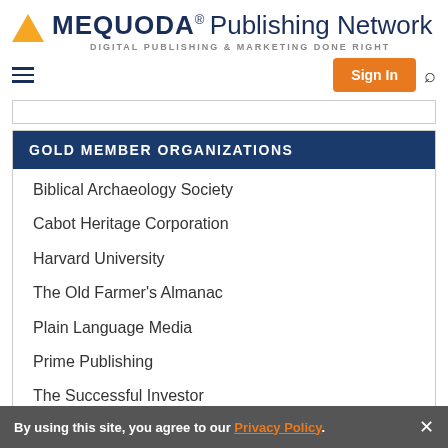[Figure (logo): Mequoda Publishing Network logo with orange triangle, bold dark blue MEQUODA text, and tagline DIGITAL PUBLISHING & MARKETING DONE RIGHT]
[Figure (screenshot): Navigation bar with hamburger menu, orange Sign In button, and search icon]
GOLD MEMBER ORGANIZATIONS
Biblical Archaeology Society
Cabot Heritage Corporation
Harvard University
The Old Farmer's Almanac
Plain Language Media
Prime Publishing
The Successful Investor
By using this site, you agree to our Privacy Policy.